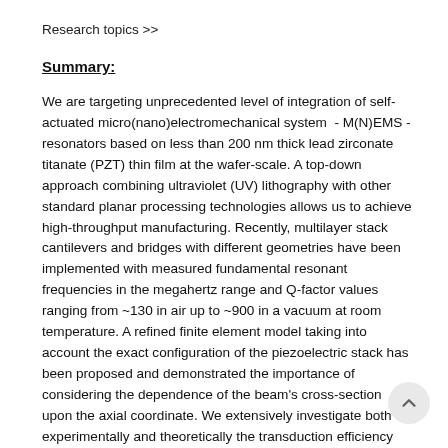Research topics >>
Summary:
We are targeting unprecedented level of integration of self-actuated micro(nano)electromechanical system  - M(N)EMS - resonators based on less than 200 nm thick lead zirconate titanate (PZT) thin film at the wafer-scale. A top-down approach combining ultraviolet (UV) lithography with other standard planar processing technologies allows us to achieve high-throughput manufacturing. Recently, multilayer stack cantilevers and bridges with different geometries have been implemented with measured fundamental resonant frequencies in the megahertz range and Q-factor values ranging from ~130 in air up to ~900 in a vacuum at room temperature. A refined finite element model taking into account the exact configuration of the piezoelectric stack has been proposed and demonstrated the importance of considering the dependence of the beam's cross-section upon the axial coordinate. We extensively investigate both experimentally and theoretically the transduction efficiency